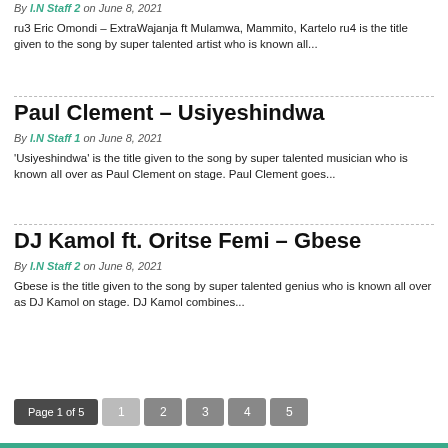By I.N Staff 2 on June 8, 2021
ru3 Eric Omondi – ExtraWajanja ft Mulamwa, Mammito, Kartelo ru4 is the title given to the song by super talented artist who is known all...
Paul Clement – Usiyeshindwa
By I.N Staff 1 on June 8, 2021
'Usiyeshindwa' is the title given to the song by super talented musician who is known all over as Paul Clement on stage. Paul Clement goes...
DJ Kamol ft. Oritse Femi – Gbese
By I.N Staff 2 on June 8, 2021
Gbese is the title given to the song by super talented genius who is known all over as DJ Kamol on stage. DJ Kamol combines...
Page 1 of 5  1  2  3  4  5